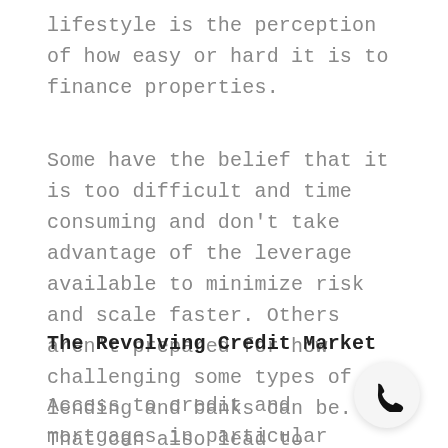lifestyle is the perception of how easy or hard it is to finance properties.
Some have the belief that it is too difficult and time consuming and don't take advantage of the leverage available to minimize risk and scale faster. Others aren't prepared for how challenging some types of lending and banks can be. That can also lead to frustration. So, what's the real deal today?
The Revolving Credit Market
Access to credit and mortgages in particular is a revolving market. Changing